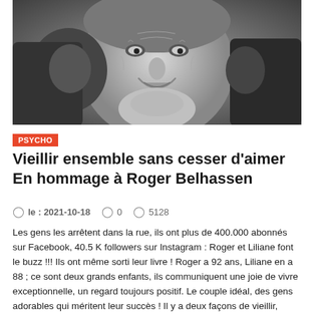[Figure (photo): Black and white close-up photo of a smiling elderly man holding headphones up to his ears, with another person's hands visible on the sides.]
PSYCHO
Vieillir ensemble sans cesser d'aimer En hommage à Roger Belhassen
le : 2021-10-18   0   5128
Les gens les arrêtent dans la rue, ils ont plus de 400.000 abonnés sur Facebook, 40.5 K followers sur Instagram : Roger et Liliane font le buzz !!! Ils ont même sorti leur livre ! Roger a 92 ans, Liliane en a 88 ; ce sont deux grands enfants, ils communiquent une joie de vivre exceptionnelle, un regard toujours positif. Le couple idéal, des gens adorables qui méritent leur succès ! Il y a deux façons de vieillir, selon que l'on aborde l'âge mûr avec un esprit combatif ou